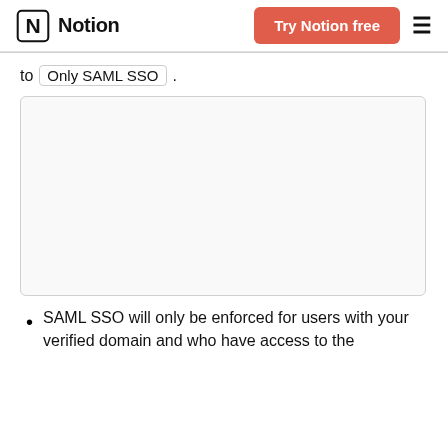Notion — Try Notion free
to Only SAML SSO .
[Figure (screenshot): Screenshot area showing a UI setting (blank/cropped)]
SAML SSO will only be enforced for users with your verified domain and who have access to the